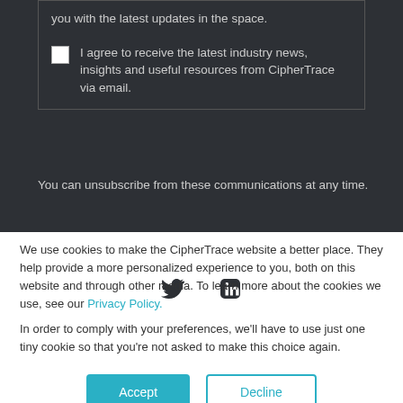you with the latest updates in the space.
I agree to receive the latest industry news, insights and useful resources from CipherTrace via email.
You can unsubscribe from these communications at any time.
[Figure (illustration): Twitter and LinkedIn social media icons as white circles with dark logos]
We use cookies to make the CipherTrace website a better place. They help provide a more personalized experience to you, both on this website and through other media. To learn more about the cookies we use, see our Privacy Policy.
In order to comply with your preferences, we'll have to use just one tiny cookie so that you're not asked to make this choice again.
Accept
Decline